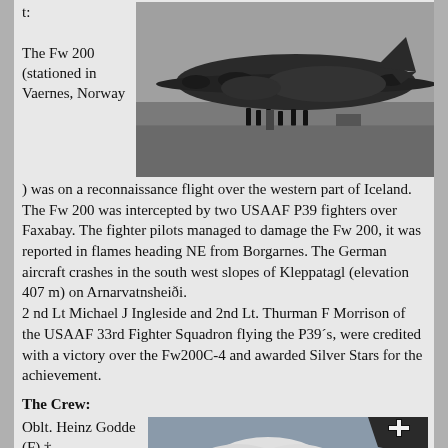t:
[Figure (photo): Black and white photograph of a large four-engine German Fw 200 Condor aircraft on an airfield with ground crew personnel standing around it.]
The Fw 200 (stationed in Vaernes, Norway) was on a reconnaissance flight over the western part of Iceland. The Fw 200 was intercepted by two USAAF P39 fighters over Faxabay. The fighter pilots managed to damage the Fw 200, it was reported in flames heading NE from Borgarnes. The German aircraft crashes in the south west slopes of Kleppatagl (elevation 407 m) on Arnarvatnsheiði.
2 nd Lt Michael J Ingleside and 2nd Lt. Thurman F Morrison of the USAAF 33rd Fighter Squadron flying the P39´s, were credited with a victory over the Fw200C-4 and awarded Silver Stars for the achievement.
The Crew:
Oblt. Heinz Godde (F) † Ff. Mathias Franzen (F) † Ofw. Horst Kroos (Bf) †
[Figure (photo): Black and white photograph showing clouds and what appears to be a wing or part of an aircraft with a German cross (Balkenkreuz) marking visible.]